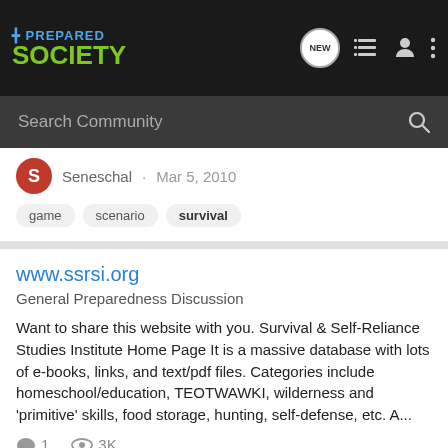Prepared Society
Search Community
Seneschal · Mar 5, 2010
game
scenario
survival
www.ssrsi.org
General Preparedness Discussion
Want to share this website with you. Survival & Self-Reliance Studies Institute Home Page It is a massive database with lots of e-books, links, and text/pdf files. Categories include homeschool/education, TEOTWAWKI, wilderness and 'primitive' skills, food storage, hunting, self-defense, etc. A...
1  3K
Lake Windsong · Dec 1, 2009